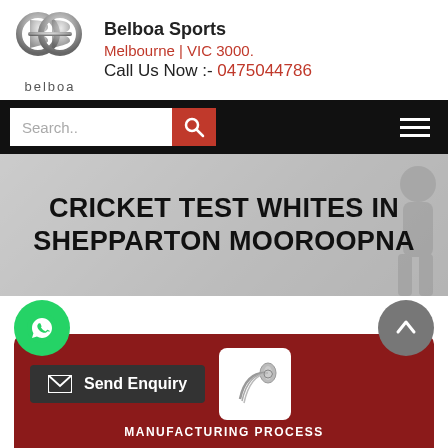[Figure (logo): Belboa Sports logo — stylized 'BB' monogram in silver/grey with 'belboa' text below]
Belboa Sports
Melbourne | VIC 3000.
Call Us Now :- 0475044786
[Figure (screenshot): Navigation bar with search input, red search button, and hamburger menu on black background]
CRICKET TEST WHITES IN SHEPPARTON MOOROOPNA
[Figure (infographic): Bottom section with WhatsApp button (green circle), grey up-arrow circle, dark red card with Send Enquiry button, fabric roll icon, and MANUFACTURING PROCESS label]